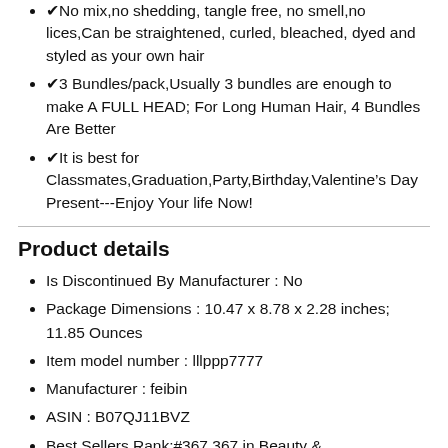✔No mix,no shedding, tangle free, no smell,no lices,Can be straightened, curled, bleached, dyed and styled as your own hair
✔3 Bundles/pack,Usually 3 bundles are enough to make A FULL HEAD; For Long Human Hair, 4 Bundles Are Better
✔It is best for Classmates,Graduation,Party,Birthday,Valentine’s Day Present---Enjoy Your life Now!
Product details
Is Discontinued By Manufacturer : No
Package Dimensions : 10.47 x 8.78 x 2.28 inches; 11.85 Ounces
Item model number : lllppp7777
Manufacturer : feibin
ASIN : B07QJ11BVZ
Best Sellers Rank:#367,367 in Beauty &